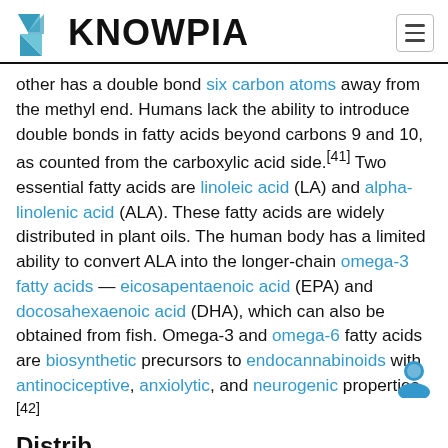KNOWPIA
other has a double bond six carbon atoms away from the methyl end. Humans lack the ability to introduce double bonds in fatty acids beyond carbons 9 and 10, as counted from the carboxylic acid side.[41] Two essential fatty acids are linoleic acid (LA) and alpha-linolenic acid (ALA). These fatty acids are widely distributed in plant oils. The human body has a limited ability to convert ALA into the longer-chain omega-3 fatty acids — eicosapentaenoic acid (EPA) and docosahexaenoic acid (DHA), which can also be obtained from fish. Omega-3 and omega-6 fatty acids are biosynthetic precursors to endocannabinoids with antinociceptive, anxiolytic, and neurogenic properties.[42]
Distrib...